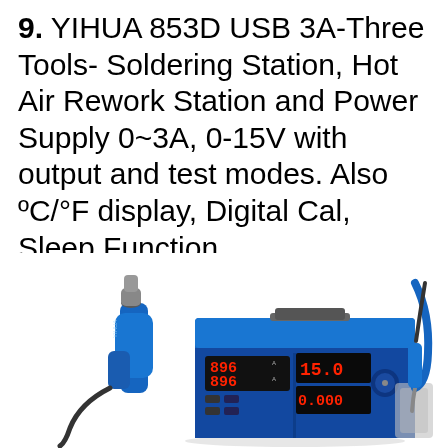9. YIHUA 853D USB 3A-Three Tools- Soldering Station, Hot Air Rework Station and Power Supply 0~3A, 0-15V with output and test modes. Also ºC/°F display, Digital Cal, Sleep Function
[Figure (photo): Photo of the YIHUA 853D USB 3A soldering station combo unit in blue, showing the main blue box unit with red LED displays showing '896' and '15.0' and '0.000', a hot air gun on the left, and a soldering iron on the right.]